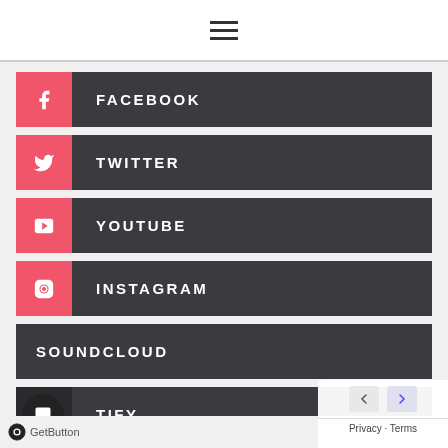[Figure (infographic): Hamburger menu icon (three horizontal lines) centered in white top bar]
FACEBOOK
TWITTER
YOUTUBE
INSTAGRAM
SOUNDCLOUD
SPOTIFY
GetButton  Privacy · Terms